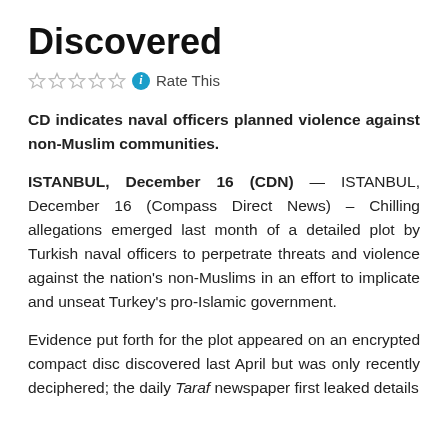Discovered
☆☆☆☆☆ ℹ Rate This
CD indicates naval officers planned violence against non-Muslim communities.
ISTANBUL, December 16 (CDN) — ISTANBUL, December 16 (Compass Direct News) – Chilling allegations emerged last month of a detailed plot by Turkish naval officers to perpetrate threats and violence against the nation's non-Muslims in an effort to implicate and unseat Turkey's pro-Islamic government.
Evidence put forth for the plot appeared on an encrypted compact disc discovered last April but was only recently deciphered; the daily Taraf newspaper first leaked details